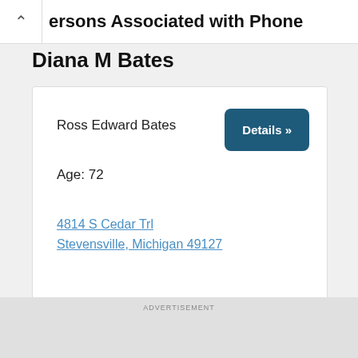ersons Associated with Phone
Diana M Bates
Ross Edward Bates
Age: 72
4814 S Cedar Trl
Stevensville, Michigan 49127
ADVERTISEMENT